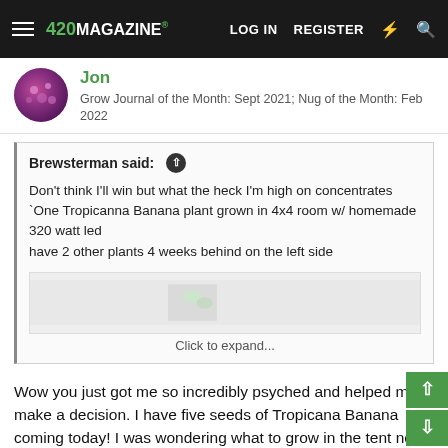420 MAGAZINE — LOG IN   REGISTER
Jon
Grow Journal of the Month: Sept 2021; Nug of the Month: Feb 2022
Brewsterman said: ↑

Don't think I'll win but what the heck I'm high on concentrates
`One Tropicanna Banana plant grown in 4x4 room w/ homemade 320 watt led
have 2 other plants 4 weeks behind on the left side

Click to expand...
Wow you just got me so incredibly psyched and helped me make a decision. I have five seeds of Tropicana Banana coming today! I was wondering what to grow in the tent next, and that plant is GORGEOUS. She also looks like a good yielder with buds that'll end up real dense. I have to grow